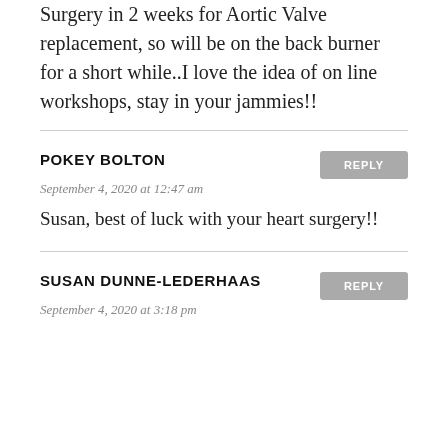Surgery in 2 weeks for Aortic Valve replacement, so will be on the back burner for a short while..I love the idea of on line workshops, stay in your jammies!!
POKEY BOLTON
September 4, 2020 at 12:47 am
Susan, best of luck with your heart surgery!!
SUSAN DUNNE-LEDERHAAS
September 4, 2020 at 3:18 pm